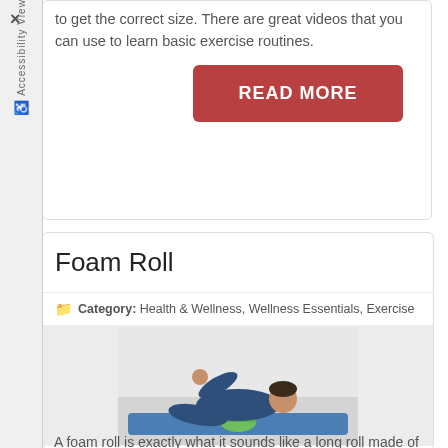to get the correct size. There are great videos that you can use to learn basic exercise routines.
READ MORE
Foam Roll
Category: Health & Wellness, Wellness Essentials, Exercise
[Figure (photo): A man lying on a blue yoga mat using a green foam roller under his back, dressed in a dark blue athletic shirt, in an exercise/gym setting.]
A foam roll is exactly what it sounds like a long roll made of foam which can be used to help with balance and